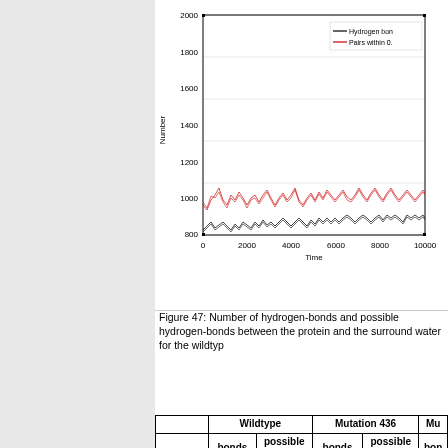[Figure (line-chart): Number of hydrogen-bonds and possible hydrogen-bonds]
Figure 47: Number of hydrogen-bonds and possible hydrogen-bonds between the protein and the surrounding water for the wildtyp
|  | Wildtype |  | Mutation 436 |  | Mu |
| --- | --- | --- | --- | --- | --- |
|  | bonds in the protein | possible bonds in the protein | bonds in the protein | possible bonds in the protein | bon in t pro |
| Average | 826.94 | 981.18 | 852.403 | 999.847 | 84 |